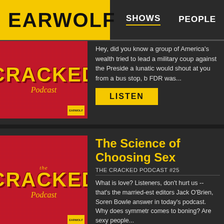EARWOLF | SHOWS | PEOPLE
[Figure (screenshot): The Cracked Podcast thumbnail image (partial/cropped) - red background with yellow 'CRACKED Podcast' text]
Hey, did you know a group of America's wealth tried to lead a military coup against the Preside a lunatic would shout at you from a bus stop, b FDR was...
LISTEN
[Figure (screenshot): The Cracked Podcast thumbnail image - red background with 'the CRACKED Podcast' in yellow text]
The Science of Choosing Sex
THE CRACKED PODCAST #25
What is love? Listeners, don't hurt us -- that's th married-est editors Jack O'Brien, Soren Bowle answer in today's podcast. Why does symmetr comes to boning? Are sexy people...
LISTEN